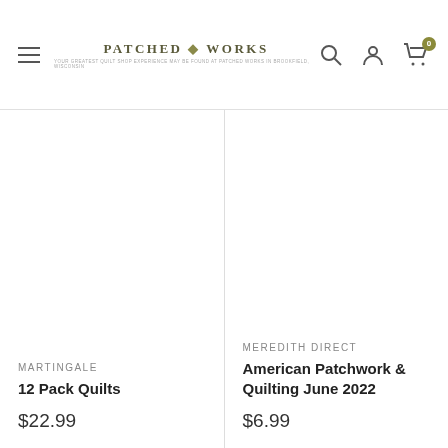Patched Works
MARTINGALE
12 Pack Quilts
$22.99
MEREDITH DIRECT
American Patchwork June 2022
$6.99